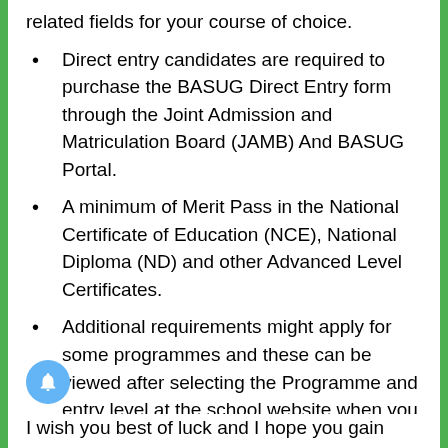related fields for your course of choice.
Direct entry candidates are required to purchase the BASUG Direct Entry form through the Joint Admission and Matriculation Board (JAMB) And BASUG Portal.
A minimum of Merit Pass in the National Certificate of Education (NCE), National Diploma (ND) and other Advanced Level Certificates.
Additional requirements might apply for some programmes and these can be viewed after selecting the Programme and entry level at the school website when you are about to obtain the post UTME form.
I wish you best of luck and I hope you gain